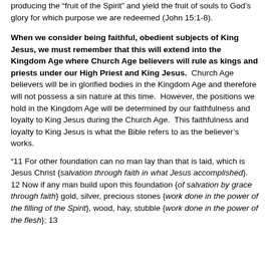producing the “fruit of the Spirit” and yield the fruit of souls to God’s glory for which purpose we are redeemed (John 15:1-8).
When we consider being faithful, obedient subjects of King Jesus, we must remember that this will extend into the Kingdom Age where Church Age believers will rule as kings and priests under our High Priest and King Jesus. Church Age believers will be in glorified bodies in the Kingdom Age and therefore will not possess a sin nature at this time. However, the positions we hold in the Kingdom Age will be determined by our faithfulness and loyalty to King Jesus during the Church Age. This faithfulness and loyalty to King Jesus is what the Bible refers to as the believer’s works.
“11 For other foundation can no man lay than that is laid, which is Jesus Christ {salvation through faith in what Jesus accomplished}. 12 Now if any man build upon this foundation {of salvation by grace through faith} gold, silver, precious stones {work done in the power of the filling of the Spirit}, wood, hay, stubble {work done in the power of the flesh}; 13